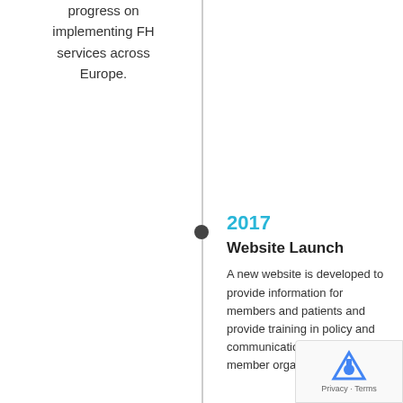progress on implementing FH services across Europe.
2017 Website Launch A new website is developed to provide information for members and patients and provide training in policy and communications activity for member organisations